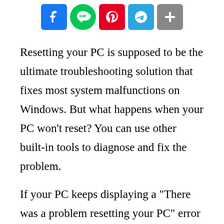[Figure (other): Row of social media share buttons: Facebook, LINE, Pinterest, Telegram, More (+)]
Resetting your PC is supposed to be the ultimate troubleshooting solution that fixes most system malfunctions on Windows. But what happens when your PC won't reset? You can use other built-in tools to diagnose and fix the problem.
If your PC keeps displaying a “There was a problem resetting your PC” error whenever you try to reinstall Windows, the solutions